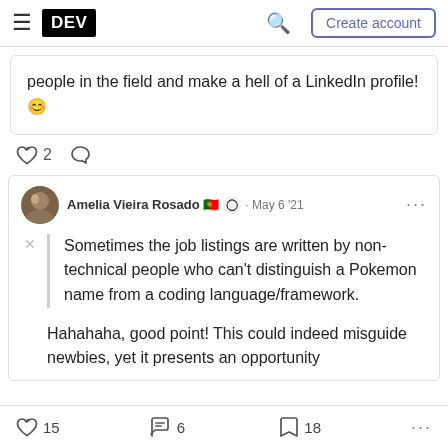DEV | Create account
people in the field and make a hell of a LinkedIn profile! 😊
♡ 2  ○
Amelia Vieira Rosado 🇵🇹 ⬡ · May 6 '21
Sometimes the job listings are written by non-technical people who can't distinguish a Pokemon name from a coding language/framework.
Hahahaha, good point! This could indeed misguide newbies, yet it presents an opportunity
♡ 15   ψ 6   □ 18   ...